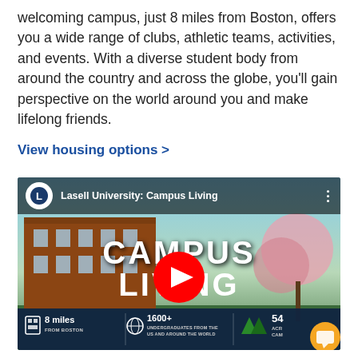welcoming campus, just 8 miles from Boston, offers you a wide range of clubs, athletic teams, activities, and events. With a diverse student body from around the country and across the globe, you'll gain perspective on the world around you and make lifelong friends.
View housing options >
[Figure (screenshot): YouTube video thumbnail for 'Lasell University: Campus Living' showing a campus building with cherry blossoms. Large white text reads 'CAMPUS LIVING' with a red YouTube play button in the center. Bottom bar shows stats: 8 miles FROM BOSTON, 1600+ UNDERGRADUATES FROM THE US AND AROUND THE WORLD, 54 ACR[ES] CAM[PUS]. A gold chat bubble icon appears at bottom right.]